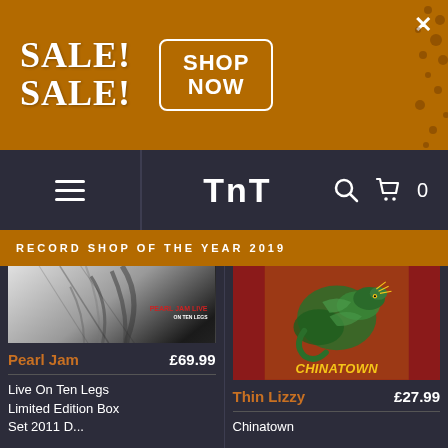[Figure (screenshot): Sale banner with orange background showing SALE! SALE! text and SHOP NOW button]
[Figure (screenshot): TNT Record Shop navigation bar with hamburger menu, TNT logo, search icon, cart icon and 0 count]
RECORD SHOP OF THE YEAR 2019
[Figure (photo): Pearl Jam Live album cover — black and white abstract image]
[Figure (photo): Thin Lizzy Chinatown album cover — dragon artwork on red background with yellow CHINATOWN text]
Pearl Jam £69.99
Thin Lizzy £27.99
Live On Ten Legs Limited Edition Box Set 2011 D...
Chinatown